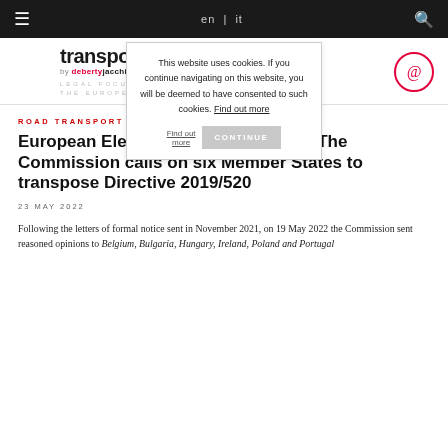transportvarden | en | it | [search]
[Figure (logo): transportvarden logo by deberty jacchia and Modigliani, with tagline LEGAL FOCUS ON TRANSPORT IN THE EUROPEAN UNION]
This website uses cookies. If you continue navigating on this website, you will be deemed to have consented to such cookies. Find out more | CONTINUE
ROAD TRANSPORT
European Electronic Tolling Service. The Commission calls on six Member States to transpose Directive 2019/520
23 MAY 2022
Following the letters of formal notice sent in November 2021, on 19 May 2022 the Commission sent reasoned opinions to Belgium, Bulgaria, Hungary, Ireland, Poland and Portugal